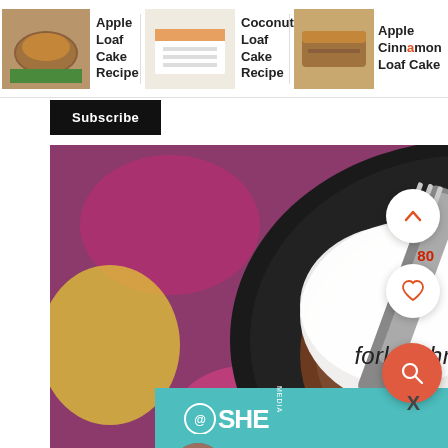[Figure (screenshot): Website screenshot showing recipe navigation thumbnails for Apple Loaf Cake Recipe, Coconut Loaf Cake Recipe, and Apple Cinnamon Loaf Cake, with a Subscribe button, a food photo of a powdered sugar dusted cake on a black plate being forked, floating UI buttons (up arrow, heart, search), the site title 'fork it through', and two SHE Media Partner Network advertisement banners.]